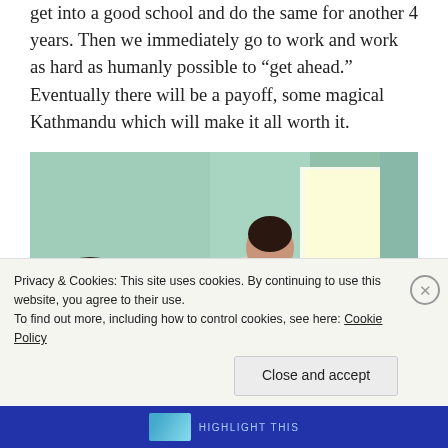get into a good school and do the same for another 4 years. Then we immediately go to work and work as hard as humanly possible to “get ahead.” Eventually there will be a payoff, some magical Kathmandu which will make it all worth it.
[Figure (photo): Two women working at a weaving loom in a room with light-colored walls. One woman is seated at the loom reaching across it, another is in the foreground facing away.]
Privacy & Cookies: This site uses cookies. By continuing to use this website, you agree to their use.
To find out more, including how to control cookies, see here: Cookie Policy
Close and accept